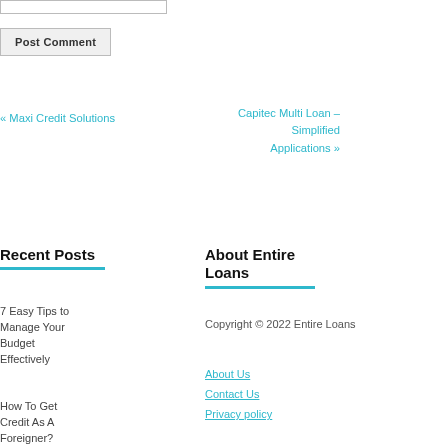[input bar]
Post Comment
« Maxi Credit Solutions
Capitec Multi Loan – Simplified Applications »
Recent Posts
About Entire Loans
7 Easy Tips to Manage Your Budget Effectively
How To Get Credit As A Foreigner?
Credit Scores –
Copyright © 2022 Entire Loans
About Us
Contact Us
Privacy policy